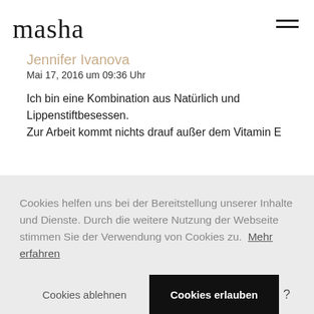masha
Jennifer Ivanova
Mai 17, 2016 um 09:36 Uhr
Ich bin eine Kombination aus Natürlich und Lippenstiftbesessen.
Zur Arbeit kommt nichts drauf außer dem Vitamin E
Cookies helfen uns bei der Bereitstellung unserer Inhalte und Dienste. Durch die weitere Nutzung der Webseite stimmen Sie der Verwendung von Cookies zu.  Mehr erfahren
Cookies ablehnen
Cookies erlauben